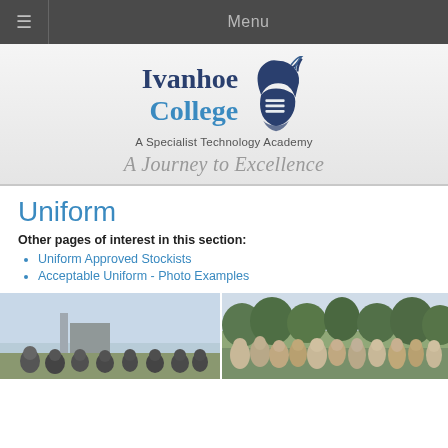Menu
[Figure (logo): Ivanhoe College logo with knight helmet and text 'A Specialist Technology Academy' and tagline 'A Journey to Excellence']
Uniform
Other pages of interest in this section:
Uniform Approved Stockists
Acceptable Uniform - Photo Examples
[Figure (photo): Two photographs at the bottom of the page showing students in school uniform]